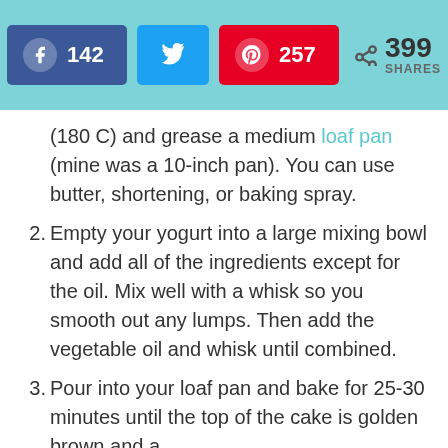142 [Facebook] | [Twitter] | 257 [Pinterest] | < 399 SHARES
(180 C) and grease a medium loaf pan (mine was a 10-inch pan). You can use butter, shortening, or baking spray.
2. Empty your yogurt into a large mixing bowl and add all of the ingredients except for the oil. Mix well with a whisk so you smooth out any lumps. Then add the vegetable oil and whisk until combined.
3. Pour into your loaf pan and bake for 25-30 minutes until the top of the cake is golden brown and a